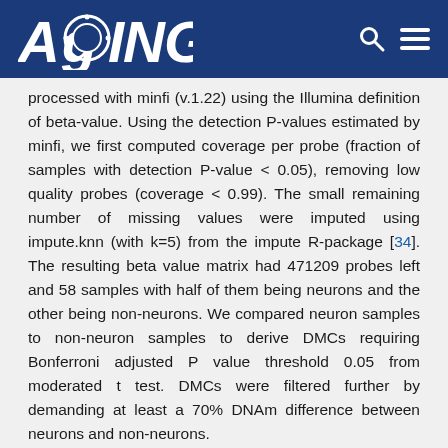AGING
processed with minfi (v.1.22) using the Illumina definition of beta-value. Using the detection P-values estimated by minfi, we first computed coverage per probe (fraction of samples with detection P-value < 0.05), removing low quality probes (coverage < 0.99). The small remaining number of missing values were imputed using impute.knn (with k=5) from the impute R-package [34]. The resulting beta value matrix had 471209 probes left and 58 samples with half of them being neurons and the other being non-neurons. We compared neuron samples to non-neuron samples to derive DMCs requiring Bonferroni adjusted P value threshold 0.05 from moderated t test. DMCs were filtered further by demanding at least a 70% DNAm difference between neurons and non-neurons.
Identification of age-DMPs